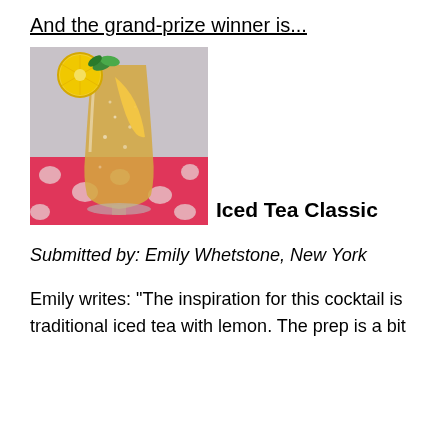And the grand-prize winner is...
[Figure (photo): A tall glass of iced tea with a lemon slice and mint garnish, sitting on a pink polka-dot cloth]
Iced Tea Classic
Submitted by: Emily Whetstone, New York
Emily writes: "The inspiration for this cocktail is traditional iced tea with lemon. The prep is a bit